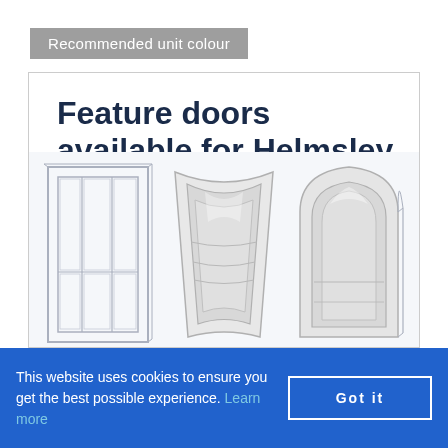Recommended unit colour
Feature doors available for Helmsley Cashmere
[Figure (illustration): Three cabinet/door design illustrations: a flat-panel door outline on the left, a curved concave door in the center, and an arched panel door on the right, shown as line drawings and light 3D renders]
This website uses cookies to ensure you get the best possible experience. Learn more
Got it